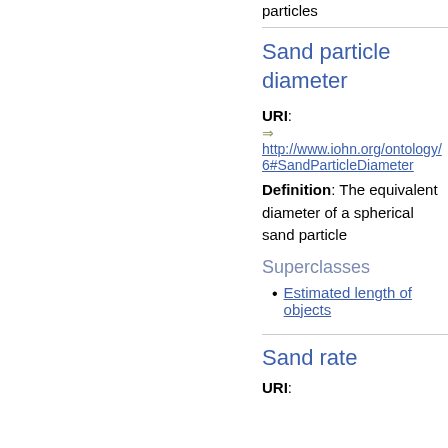particles
Sand particle diameter
URI: ⇒ http://www.iohn.org/ontology/6#SandParticleDiameter
Definition: The equivalent diameter of a spherical sand particle
Superclasses
Estimated length of objects
Sand rate
URI: